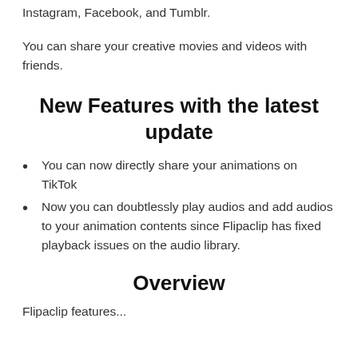Instagram, Facebook, and Tumblr.
You can share your creative movies and videos with friends.
New Features with the latest update
You can now directly share your animations on TikTok
Now you can doubtlessly play audios and add audios to your animation contents since Flipaclip has fixed playback issues on the audio library.
Overview
Flipaclip features...